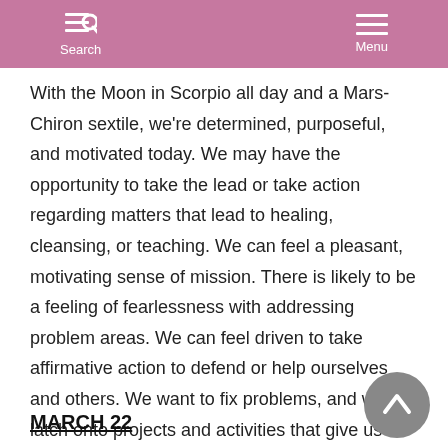Search  Menu
With the Moon in Scorpio all day and a Mars-Chiron sextile, we're determined, purposeful, and motivated today. We may have the opportunity to take the lead or take action regarding matters that lead to healing, cleansing, or teaching. We can feel a pleasant, motivating sense of mission. There is likely to be a feeling of fearlessness with addressing problem areas. We can feel driven to take affirmative action to defend or help ourselves and others. We want to fix problems, and we latch onto projects and activities that give us a stronger sense of purpose.
MARCH 22